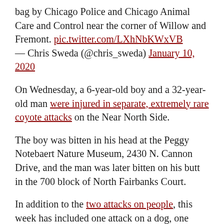bag by Chicago Police and Chicago Animal Care and Control near the corner of Willow and Fremont. pic.twitter.com/LXhNbKWxVB — Chris Sweda (@chris_sweda) January 10, 2020
On Wednesday, a 6-year-old boy and a 32-year-old man were injured in separate, extremely rare coyote attacks on the Near North Side.
The boy was bitten in his head at the Peggy Notebaert Nature Museum, 2430 N. Cannon Drive, and the man was later bitten on his butt in the 700 block of North Fairbanks Court.
In addition to the two attacks on people, this week has included one attack on a dog, one harbor rescue of a water-logged coyote and